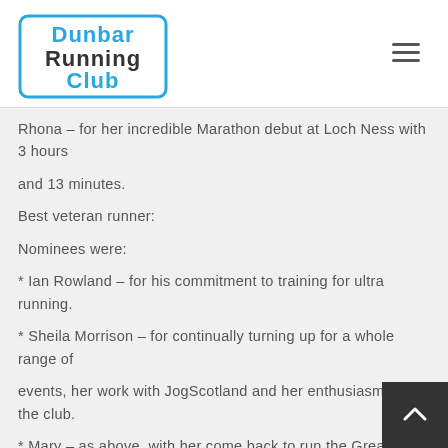Dunbar Running Club
[Figure (logo): Dunbar Running Club logo — blue and dark text in a rounded rectangle border]
Rhona – for her incredible Marathon debut at Loch Ness with 3 hours and 13 minutes.
Best veteran runner:
Nominees were:
* Ian Rowland – for his commitment to training for ultra running.
* Sheila Morrison – for continually turning up for a whole range of events, her work with JogScotland and her enthusiasm for the club.
* Mary – as above, with her come back to run the Great North Run half